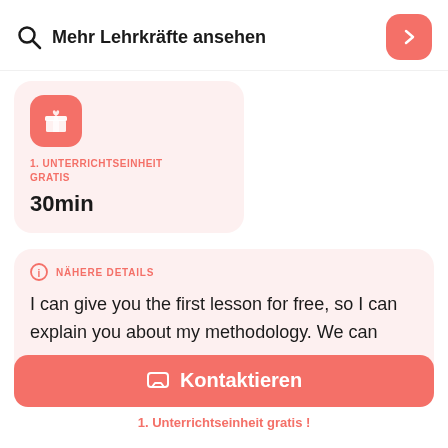Mehr Lehrkräfte ansehen
1. UNTERRICHTSEINHEIT GRATIS
30min
NÄHERE DETAILS
I can give you the first lesson for free, so I can explain you about my methodology. We can
Kontaktieren
1. Unterrichtseinheit gratis !